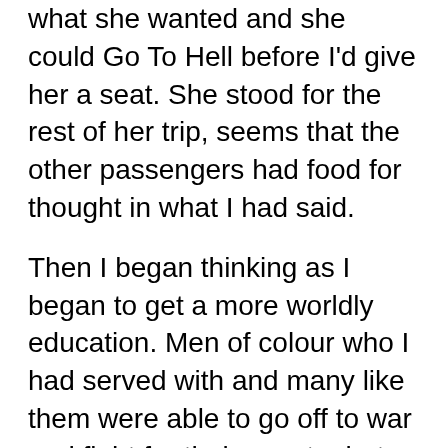what she wanted and she could Go To Hell before I'd give her a seat. She stood for the rest of her trip, seems that the other passengers had food for thought in what I had said.
Then I began thinking as I began to get a more worldly education. Men of colour who I had served with and many like them were able to go off to war and fight for their country but were still not able to vote. I thought, Is this America?
Then my son went Airborne, He taught survival on the glaciers in Alaska and then went on to be a DI. He was not the same son that I knew when he went into service when he came home. He had problems getting himself together again.
I have seen people of all race and colour come to this country and work hard to learn our ways and customs to finally become an American. No doubt they are Proud To Be Americans. I have seen the children of